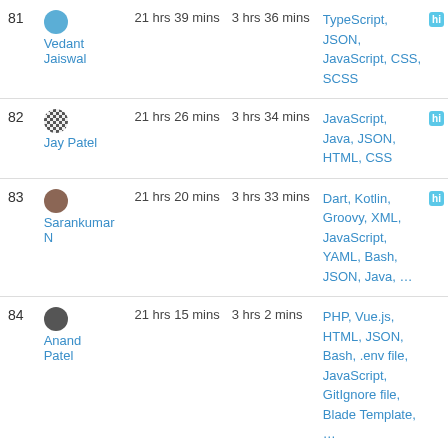| # | User | Total Time | Daily Avg | Languages |  |
| --- | --- | --- | --- | --- | --- |
| 81 | Vedant Jaiswal | 21 hrs 39 mins | 3 hrs 36 mins | TypeScript, JSON, JavaScript, CSS, SCSS | hi |
| 82 | Jay Patel | 21 hrs 26 mins | 3 hrs 34 mins | JavaScript, Java, JSON, HTML, CSS | hi |
| 83 | Sarankumar N | 21 hrs 20 mins | 3 hrs 33 mins | Dart, Kotlin, Groovy, XML, JavaScript, YAML, Bash, JSON, Java, ... | hi |
| 84 | Anand Patel | 21 hrs 15 mins | 3 hrs 2 mins | PHP, Vue.js, HTML, JSON, Bash, .env file, JavaScript, GitIgnore file, Blade Template, ... |  |
| 85 | Parth Sharma | 21 hrs 2 mins | 3 hrs | Python, JavaScript, HTML, Bash, | hi |